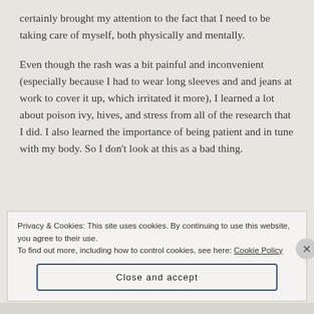certainly brought my attention to the fact that I need to be taking care of myself, both physically and mentally.
Even though the rash was a bit painful and inconvenient (especially because I had to wear long sleeves and and jeans at work to cover it up, which irritated it more), I learned a lot about poison ivy, hives, and stress from all of the research that I did. I also learned the importance of being patient and in tune with my body. So I don't look at this as a bad thing.
Privacy & Cookies: This site uses cookies. By continuing to use this website, you agree to their use.
To find out more, including how to control cookies, see here: Cookie Policy
Close and accept